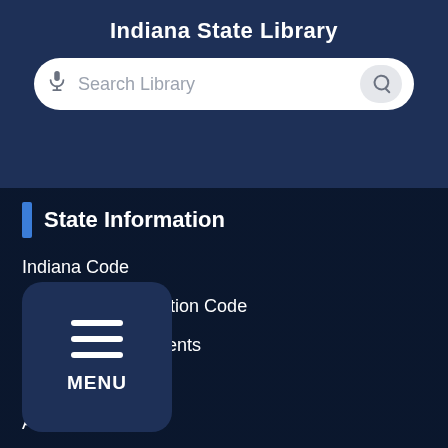Indiana State Library
State Information
Indiana Code
Indiana Administration Code
IN.gov News & Events
Email Updates
Awards
IN.gov Resources
Find a State Employee
Find an Agency
...mation
...ee Resources